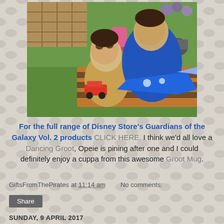[Figure (photo): Two children sitting outdoors on grass/striped cushion, playing with toy vehicles including what appears to be a LEGO Guardians of the Galaxy spaceship and a small red car/truck. Child in front wears yellow shorts and grey top; child behind wears blue jacket.]
For the full range of Disney Store's Guardians of the Galaxy Vol. 2 products CLICK HERE. I think we'd all love a Dancing Groot, Opeie is pining after one and I could definitely enjoy a cuppa from this awesome Groot Mug.
GiftsFromThePirates at 11:14 am   No comments:
Share
SUNDAY, 9 APRIL 2017